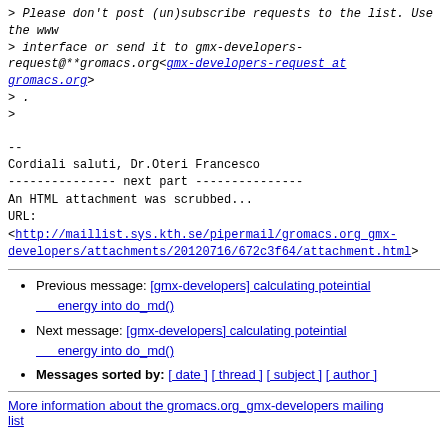> Please don't post (un)subscribe requests to the list. Use the www
> interface or send it to gmx-developers-request@**gromacs.org<gmx-developers-request at gromacs.org>
> .
>
--
Cordiali saluti, Dr.Oteri Francesco
--------------- next part ---------------
An HTML attachment was scrubbed...
URL:
<http://maillist.sys.kth.se/pipermail/gromacs.org_gmx-developers/attachments/20120716/672c3f64/attachment.html>
Previous message: [gmx-developers] calculating poteintial energy into do_md()
Next message: [gmx-developers] calculating poteintial energy into do_md()
Messages sorted by: [ date ] [ thread ] [ subject ] [ author ]
More information about the gromacs.org_gmx-developers mailing list